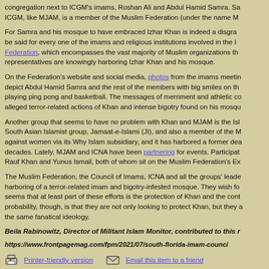congregation next to ICGM's imams, Roshan Ali and Abdul Hamid Samra. ICGM, like MJAM, is a member of the Muslim Federation (under the name M...
For Samra and his mosque to have embraced Izhar Khan is indeed a disgrace... which encompasses the vast majority of Muslim organizations... representatives are knowingly harboring Izhar Khan and his mosque.
On the Federation's website and social media, photos from the imams meeting depict Abdul Hamid Samra and the rest of the members with big smiles on their faces, playing ping pong and basketball. The messages of merriment and athletic co... alleged terror-related actions of Khan and intense bigotry found on his mosque.
Another group that seems to have no problem with Khan and MJAM is the Isl... South Asian Islamist group, Jamaat-e-Islami (JI), and also a member of the M... against women via its Why Islam subsidiary, and it has harbored a former dea... decades. Lately, MJAM and ICNA have been partnering for events. Participat... Rauf Khan and Yunus Ismail, both of whom sit on the Muslim Federation's Ex...
The Muslim Federation, the Council of Imams, ICNA and all the groups' leade... harboring of a terror-related imam and bigotry-infested mosque. They wish fo... seems that at least part of these efforts is the protection of Khan and the cont... probability, though, is that they are not only looking to protect Khan, but they ... the same fanatical ideology.
Beila Rabinowitz, Director of Militant Islam Monitor, contributed to this r...
https://www.frontpagemag.com/fpm/2021/07/south-florida-imam-counci...
Printer-friendly version   Email this item to a friend
06241376